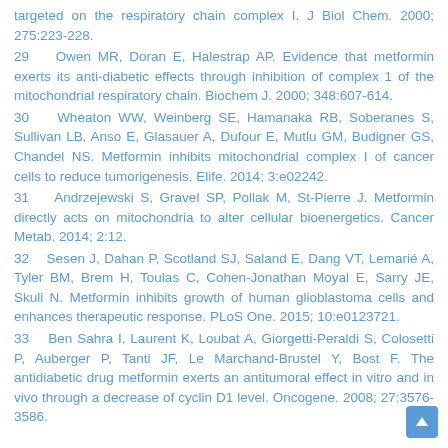targeted on the respiratory chain complex I. J Biol Chem. 2000; 275:223-228.
29    Owen MR, Doran E, Halestrap AP. Evidence that metformin exerts its anti-diabetic effects through inhibition of complex 1 of the mitochondrial respiratory chain. Biochem J. 2000; 348:607-614.
30    Wheaton WW, Weinberg SE, Hamanaka RB, Soberanes S, Sullivan LB, Anso E, Glasauer A, Dufour E, Mutlu GM, Budigner GS, Chandel NS. Metformin inhibits mitochondrial complex I of cancer cells to reduce tumorigenesis. Elife. 2014; 3:e02242.
31    Andrzejewski S, Gravel SP, Pollak M, St-Pierre J. Metformin directly acts on mitochondria to alter cellular bioenergetics. Cancer Metab. 2014; 2:12.
32    Sesen J, Dahan P, Scotland SJ, Saland E, Dang VT, Lemarié A, Tyler BM, Brem H, Toulas C, Cohen-Jonathan Moyal E, Sarry JE, Skuli N. Metformin inhibits growth of human glioblastoma cells and enhances therapeutic response. PLoS One. 2015; 10:e0123721.
33    Ben Sahra I, Laurent K, Loubat A, Giorgetti-Peraldi S, Colosetti P, Auberger P, Tanti JF, Le Marchand-Brustel Y, Bost F. The antidiabetic drug metformin exerts an antitumoral effect in vitro and in vivo through a decrease of cyclin D1 level. Oncogene. 2008; 27:3576-3586.